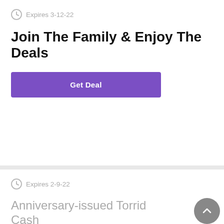Expires 3-12-22
Join The Family & Enjoy The Deals
Get Deal
Expires 2-9-22
Anniversary-issued Torrid Cash
$25-off-$50-Anniversary-Torrid-Cash